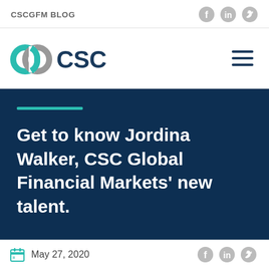CSCGFM BLOG
[Figure (logo): CSC logo with interlinked circles and CSC wordmark in navy blue]
Get to know Jordina Walker, CSC Global Financial Markets' new talent.
May 27, 2020